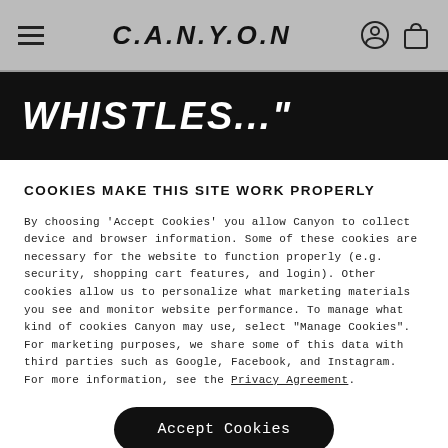[Figure (screenshot): Canyon website navigation bar with hamburger menu, Canyon logo, user account icon, and shopping bag icon on a gray background]
WHISTLES..."
COOKIES MAKE THIS SITE WORK PROPERLY
By choosing 'Accept Cookies' you allow Canyon to collect device and browser information. Some of these cookies are necessary for the website to function properly (e.g. security, shopping cart features, and login). Other cookies allow us to personalize what marketing materials you see and monitor website performance. To manage what kind of cookies Canyon may use, select "Manage Cookies". For marketing purposes, we share some of this data with third parties such as Google, Facebook, and Instagram. For more information, see the Privacy Agreement.
Accept Cookies
Manage Cookies